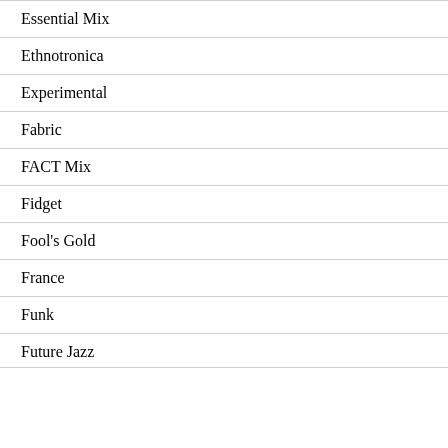Essential Mix
Ethnotronica
Experimental
Fabric
FACT Mix
Fidget
Fool's Gold
France
Funk
Future Jazz